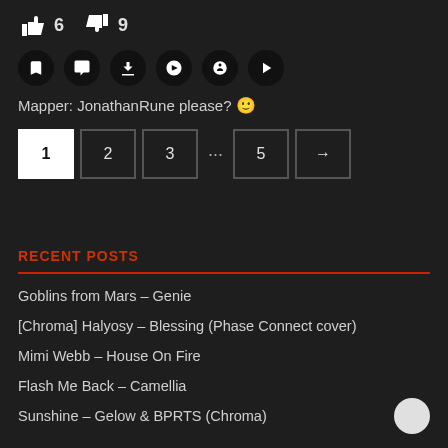👍 6  👎 9
Mapper: JonathanRune please? 🙂
Pagination: 1 2 3 ... 5 →
RECENT POSTS
Goblins from Mars – Genie
[Chroma] Halyosy – Blessing (Phase Connect cover)
Mimi Webb – House On Fire
Flash Me Back – Camellia
Sunshine – Gelow & BPRTS (Chroma)